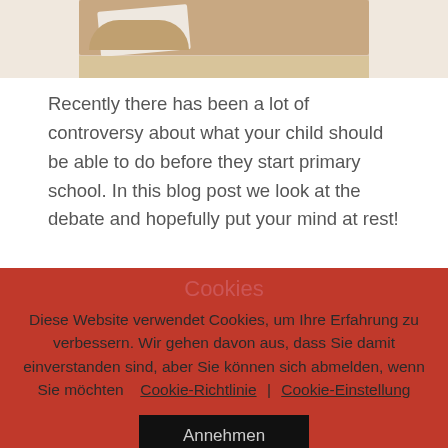[Figure (photo): Child at a school desk writing, viewed from above, partial view showing arms and desk surface]
Recently there has been a lot of controversy about what your child should be able to do before they start primary school. In this blog post we look at the debate and hopefully put your mind at rest!
Starting Primary School: the big debate
Cookies
Diese Website verwendet Cookies, um Ihre Erfahrung zu verbessern. Wir gehen davon aus, dass Sie damit einverstanden sind, aber Sie können sich abmelden, wenn Sie möchten
Cookie-Richtlinie | Cookie-Einstellung
Annehmen